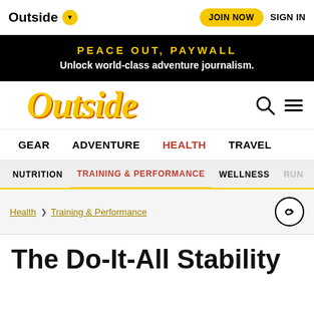Outside ▾   JOIN NOW   SIGN IN
PEACE OUT, PAYWALL
Unlock world-class adventure journalism.
[Figure (logo): Outside magazine logo in yellow italic serif font with orange drop shadow]
GEAR   ADVENTURE   HEALTH   TRAVEL
NUTRITION   TRAINING & PERFORMANCE   WELLNESS   RUN
Health › Training & Performance
The Do-It-All Stability